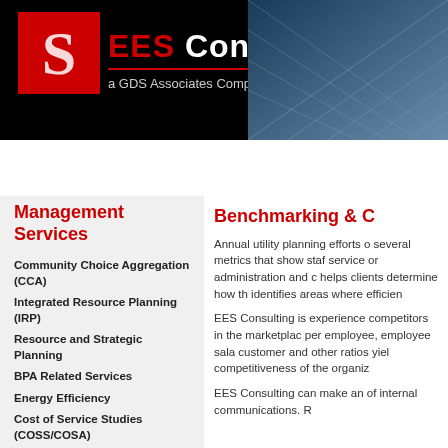[Figure (logo): EES Consulting logo with red S icon and 'a GDS Associates Company' subtitle, on dark header with grid pattern background]
Home | Clients | About Us | Careers | Conta
Management Services
Community Choice Aggregation (CCA)
Integrated Resource Planning (IRP)
Resource and Strategic Planning
BPA Related Services
Energy Efficiency
Cost of Service Studies (COSS/COSA)
Cost Allocation and Rates
Financial and Strategic Planning
Economic Analysis & Services
Utility Evaluation
■ Benchmarking & Comparative Studies
Benchmarking & C
Annual utility planning efforts o several metrics that show staf service or administration and helps clients determine how th identifies areas where efficien
EES Consulting is experience competitors in the marketplac per employee, employee sala customer and other ratios yiel competitiveness of the organiz
EES Consulting can make an of internal communications. R